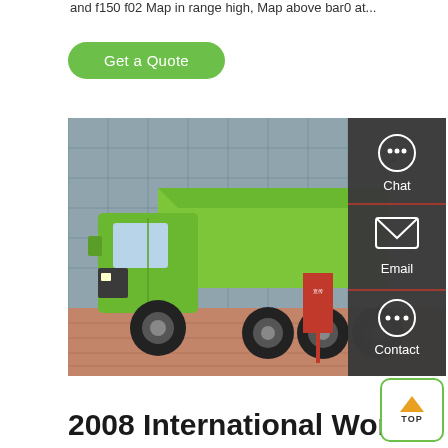and f150 f02 Map in range high, Map above bar0 at...
Get a Quote
[Figure (photo): Green heavy-duty dump truck (8-wheel) parked in front of a glass building, with a red promotional banner/sign next to it. A dark sidebar panel with Chat, Email, and Contact icons overlays the right portion of the photo.]
2008 International WorkSt